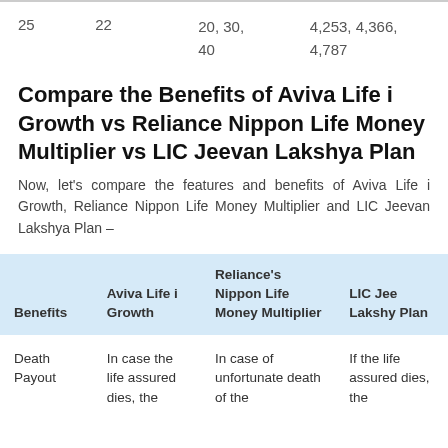| 25 | 22 | 20, 30, 40 | 4,253, 4,366, 4,787 |
Compare the Benefits of Aviva Life i Growth vs Reliance Nippon Life Money Multiplier vs LIC Jeevan Lakshya Plan
Now, let's compare the features and benefits of Aviva Life i Growth, Reliance Nippon Life Money Multiplier and LIC Jeevan Lakshya Plan –
| Benefits | Aviva Life i Growth | Reliance's Nippon Life Money Multiplier | LIC Jeevan Lakshya Plan |
| --- | --- | --- | --- |
| Death Payout | In case the life assured dies, the | In case of unfortunate death of the | If the life assured dies, the |